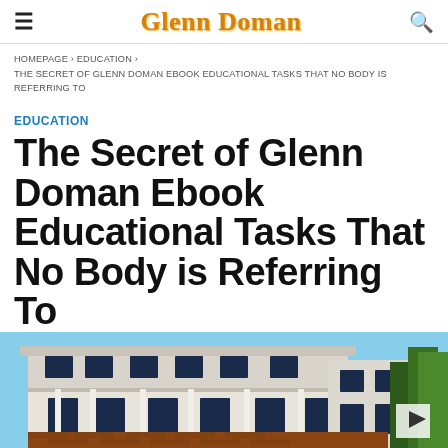Glenn Doman
HOMEPAGE › EDUCATION › THE SECRET OF GLENN DOMAN EBOOK EDUCATIONAL TASKS THAT NO BODY IS REFERRING TO
EDUCATION
The Secret of Glenn Doman Ebook Educational Tasks That No Body is Referring To
[Figure (photo): A large white colonial-style building with balconies and columns, surrounded by trees]